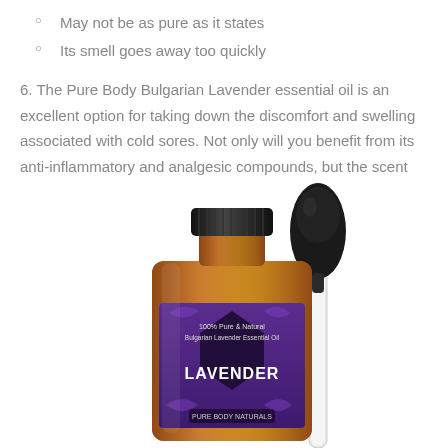May not be as pure as it states
Its smell goes away too quickly
6. The Pure Body Bulgarian Lavender essential oil is an excellent option for taking down the discomfort and swelling associated with cold sores. Not only will you benefit from its anti-inflammatory and analgesic compounds, but the scent will elevate your spirits.
[Figure (photo): Product photo of Pure Body Naturals Bulgarian Lavender Essential Oil amber bottle with purple label and dropper pipette]